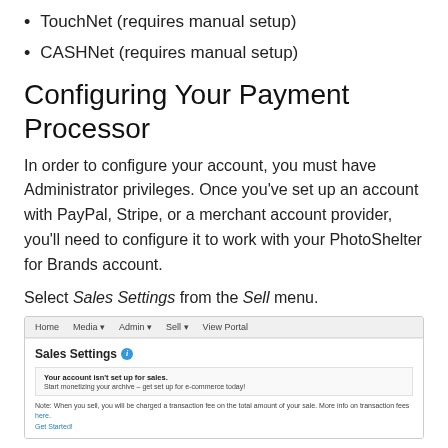TouchNet (requires manual setup)
CASHNet (requires manual setup)
Configuring Your Payment Processor
In order to configure your account, you must have Administrator privileges. Once you've set up an account with PayPal, Stripe, or a merchant account provider, you'll need to configure it to work with your PhotoShelter for Brands account.
Select Sales Settings from the Sell menu.
[Figure (screenshot): Screenshot of PhotoShelter for Brands Sales Settings page showing navigation bar with Home, Media, Admin, Sell, View Portal and Sales Settings panel with a message that the account is not set up for sales.]